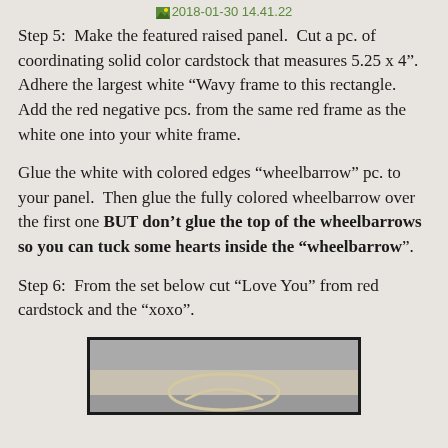2018-01-30 14.41.22
Step 5:  Make the featured raised panel.  Cut a pc. of coordinating solid color cardstock that measures 5.25 x 4".  Adhere the largest white “Wavy frame to this rectangle.  Add the red negative pcs. from the same red frame as the white one into your white frame.
Glue the white with colored edges “wheelbarrow” pc. to your panel.  Then glue the fully colored wheelbarrow over the first one BUT don’t glue the top of the wheelbarrows so you can tuck some hearts inside the “wheelbarrow”.
Step 6:  From the set below cut “Love You” from red cardstock and the “xoxo”.
[Figure (photo): Partial view of a craft/scrapbooking image at bottom of page, dark framed photo showing a light-colored decorative element]